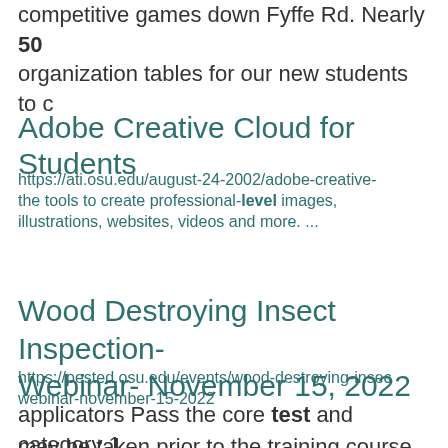competitive games down Fyffe Rd. Nearly 50 organization tables for our new students to c
Adobe Creative Cloud for Students
https://ati.osu.edu/august-24-2002/adobe-creative- the tools to create professional-level images, illustrations, websites, videos and more. ...
Wood Destroying Insect Inspection- Webinar- November 15, 2022
https://pested.osu.edu/events/wood-destroying-insec webinar-november-15-2022
applicators Pass the core test and category 1 may be taken prior to the training course, if ... commercial pesticide new applicator trainin